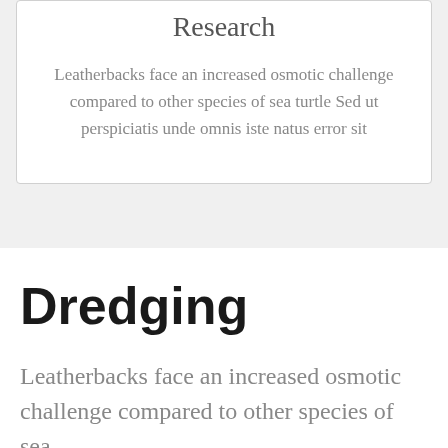Research
Leatherbacks face an increased osmotic challenge compared to other species of sea turtle Sed ut perspiciatis unde omnis iste natus error sit
Dredging
Leatherbacks face an increased osmotic challenge compared to other species of sea